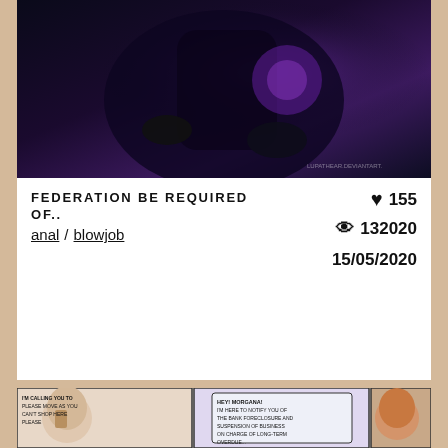[Figure (photo): Dark fantasy/gaming themed image with purple and black colors, showing a character in dark armor with purple glowing elements]
FEDERATION BE REQUIRED OF..
♥ 155
👁 132020
15/05/2020
anal / blowjob
[Figure (illustration): Comic/manga style illustration showing armored fantasy characters in a market street scene (Demacia Market Alley). Speech bubbles read: 'GO! THIS IS THE BAKERY HE TOLD ME !!' and 'SHE SOLD OUT!' and 'I'LL... I SHOULD HAVE GONE TO LITTLE BAKERY'. Scene shows multiple characters in fantasy armor and civilian clothing in a colorful marketplace setting.]
[Figure (illustration): Bottom strip of comic panels showing character close-ups with speech bubbles. Text reads: 'HEY! MORGANA! I'M HERE TO NOTIFY YOU OF THE BANK FORECLOSURE AND SUSPENSION OF BUSINESS ON CHARGE OF LONG-TERM OVERDUE...' and other partially visible text in comic panels.]